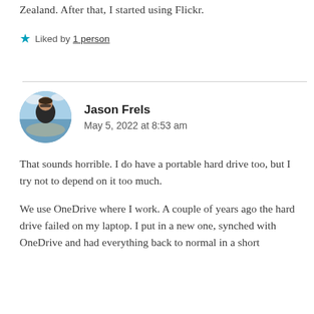Zealand. After that, I started using Flickr.
Liked by 1 person
Jason Frels
May 5, 2022 at 8:53 am
That sounds horrible. I do have a portable hard drive too, but I try not to depend on it too much.
We use OneDrive where I work. A couple of years ago the hard drive failed on my laptop. I put in a new one, synched with OneDrive and had everything back to normal in a short